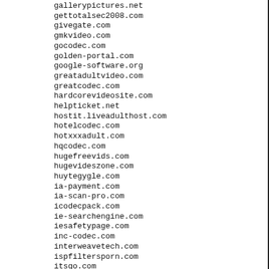gallerypictures.net
gettotalsec2008.com
givegate.com
gmkvideo.com
gocodec.com
golden-portal.com
google-software.org
greatadultvideo.com
greatcodec.com
hardcorevideosite.com
helpticket.net
hostit.liveadulthost.com
hotelcodec.com
hotxxxadult.com
hqcodec.com
hugefreevids.com
hugevideszone.com
huytegygle.com
ia-payment.com
ia-scan-pro.com
icodecpack.com
ie-searchengine.com
iesafetypage.com
inc-codec.com
interweavetech.com
ispfiltersporn.com
itsgo.com
lilasite.com
liveantispy.net
livesecuritycenter.com
loweradult.com
magicppc.com
medcodec.com
mediasportal.com
mega-adult.com
moviesdvds.net
mscodec.com
msscanner.com
my-pretty.com
nakedpornstars.net
name-services.com